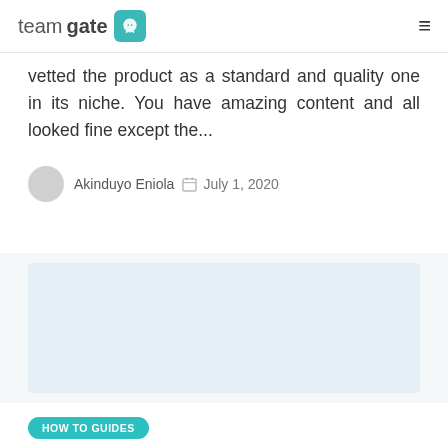teamgate [logo]
vetted the product as a standard and quality one in its niche. You have amazing content and all looked fine except the...
Akinduyo Eniola   July 1, 2020
[Figure (photo): Light blue placeholder image for blog post thumbnail]
HOW TO GUIDES
8 Simple Blog SEO Tips To Create a